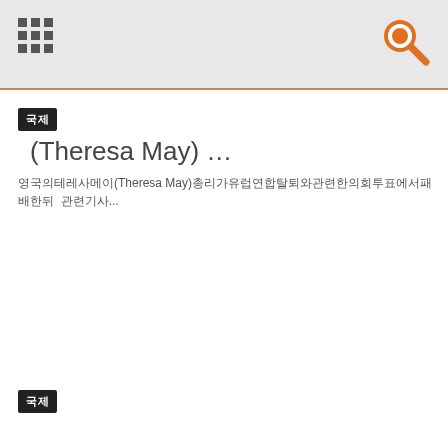국제
(Theresa May)  …
영국의테레사메이(Theresa May)총리가유럽연합탈퇴와관련한의회투표에서패배한뒤... 관련기사...
국제